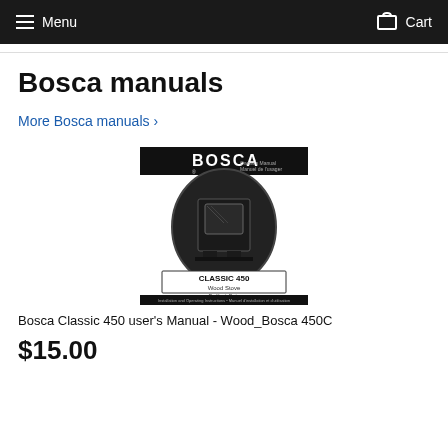Menu   Cart
Bosca manuals
More Bosca manuals ›
[Figure (photo): Cover image of the Bosca Classic 450 Wood Stove Owner's Manual / Manuel de l'usager, showing a black wood stove inside an oval frame, with product name CLASSIC 450 Wood Stove / Poêle à Bois, installation and operating instructions text, and fine print at bottom.]
Bosca Classic 450 user's Manual - Wood_Bosca 450C
$15.00